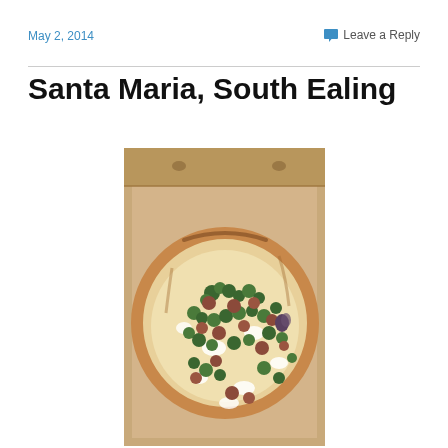May 2, 2014
Leave a Reply
Santa Maria, South Ealing
[Figure (photo): A Neapolitan-style pizza topped with broccoli rabe, sausage meatballs, and white cheese, served open in a cardboard takeaway box, photographed from above.]